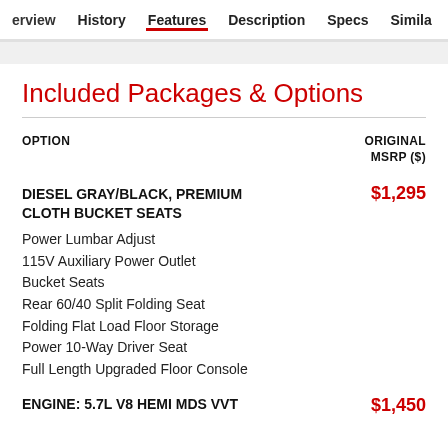erview  History  Features  Description  Specs  Similar
Included Packages & Options
| OPTION | ORIGINAL
MSRP ($) |
| --- | --- |
| DIESEL GRAY/BLACK, PREMIUM CLOTH BUCKET SEATS | $1,295 |
| Power Lumbar Adjust |  |
| 115V Auxiliary Power Outlet |  |
| Bucket Seats |  |
| Rear 60/40 Split Folding Seat |  |
| Folding Flat Load Floor Storage |  |
| Power 10-Way Driver Seat |  |
| Full Length Upgraded Floor Console |  |
| ENGINE: 5.7L V8 HEMI MDS VVT | $1,450 |